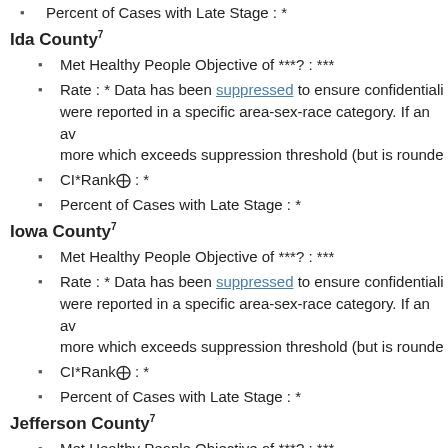Percent of Cases with Late Stage : *
Ida County⁷
Met Healthy People Objective of ***? : ***
Rate : * Data has been suppressed to ensure confidentiality were reported in a specific area-sex-race category. If an av more which exceeds suppression threshold (but is rounde
CI*Rank⨁ : *
Percent of Cases with Late Stage : *
Iowa County⁷
Met Healthy People Objective of ***? : ***
Rate : * Data has been suppressed to ensure confidentiality were reported in a specific area-sex-race category. If an av more which exceeds suppression threshold (but is rounde
CI*Rank⨁ : *
Percent of Cases with Late Stage : *
Jefferson County⁷
Met Healthy People Objective of ***? : ***
Rate : * Data has been suppressed to ensure confidentiality were reported in a specific area-sex-race category. If an av